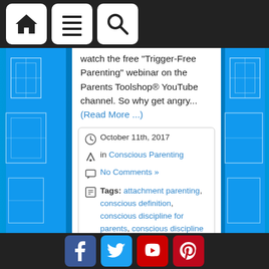[Navigation bar with home, menu, and search icons]
watch the free “Trigger-Free Parenting” webinar on the Parents Toolshop® YouTube channel. So why get angry... (Read More ...)
October 11th, 2017
in Conscious Parenting
No Comments »
Tags: attachment parenting, conscious definition, conscious discipline for parents, conscious discipline techniques, conscious parenting, conscious parenting blog, conscious parents, good parenting, parenting advice, parenting articles, parenting plan, parenting skills, parenting tips, parenting websites
Are you Really a Conscious
[Social media icons: Facebook, Twitter, YouTube, Pinterest]